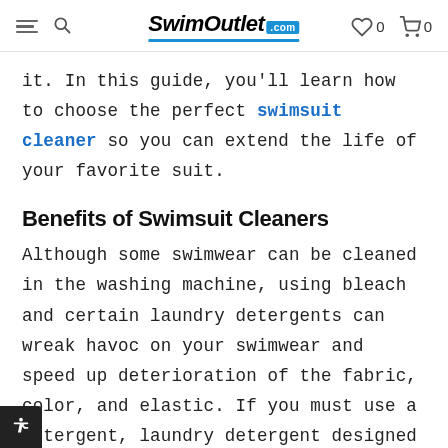SwimOutlet.com
it. In this guide, you'll learn how to choose the perfect swimsuit cleaner so you can extend the life of your favorite suit.
Benefits of Swimsuit Cleaners
Although some swimwear can be cleaned in the washing machine, using bleach and certain laundry detergents can wreak havoc on your swimwear and speed up deterioration of the fabric, color, and elastic. If you must use a detergent, laundry detergent designed for delicate clothes is ideal. However, it's just as easy to hand wash your